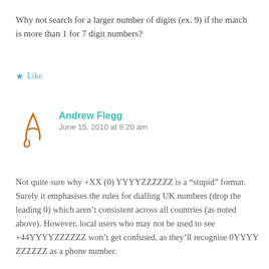Why not search for a larger number of digits (ex. 9) if the match is more than 1 for 7 digit numbers?
★ Like
Andrew Flegg
June 15, 2010 at 8:20 am
Not quite sure why +XX (0) YYYYZZZZZZ is a “stupid” format. Surely it emphasises the rules for dialling UK numbers (drop the leading 0) which aren’t consistent across all countries (as noted above). However, local users who may not be used to see +44YYYYZZZZZZ won’t get confused, as they’ll recognise 0YYYY ZZZZZZ as a phone number.